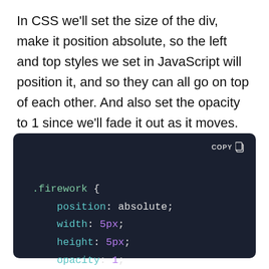In CSS we'll set the size of the div, make it position absolute, so the left and top styles we set in JavaScript will position it, and so they can all go on top of each other. And also set the opacity to 1 since we'll fade it out as it moves.
[Figure (screenshot): Dark-themed code block showing CSS for .firework class with properties: position: absolute; width: 5px; height: 5px; opacity: 1; and a COPY button in the top right corner.]